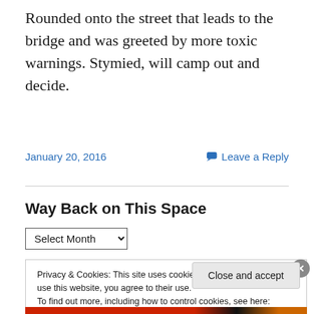Rounded onto the street that leads to the bridge and was greeted by more toxic warnings. Stymied, will camp out and decide.
January 20, 2016
Leave a Reply
Way Back on This Space
Select Month (dropdown)
Privacy & Cookies: This site uses cookies. By continuing to use this website, you agree to their use.
To find out more, including how to control cookies, see here: Cookie Policy
Close and accept